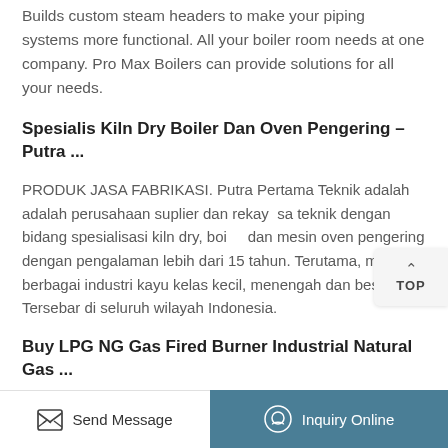Builds custom steam headers to make your piping systems more functional. All your boiler room needs at one company. Pro Max Boilers can provide solutions for all your needs.
Spesialis Kiln Dry Boiler Dan Oven Pengering – Putra ...
PRODUK JASA FABRIKASI. Putra Pertama Teknik adalah adalah perusahaan suplier dan rekayasa teknik dengan bidang spesialisasi kiln dry, boiler dan mesin oven pengering dengan pengalaman lebih dari 15 tahun. Terutama, melayani berbagai industri kayu kelas kecil, menengah dan besar. Tersebar di seluruh wilayah Indonesia.
Buy LPG NG Gas Fired Burner Industrial Natural Gas ...